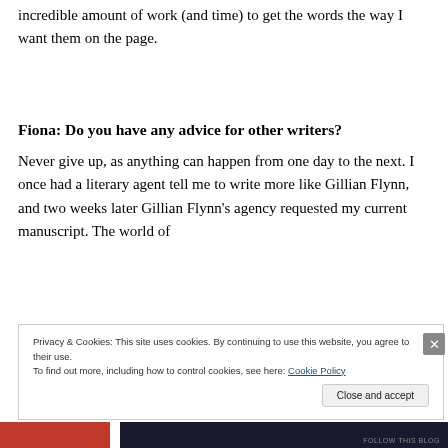incredible amount of work (and time) to get the words the way I want them on the page.
Fiona: Do you have any advice for other writers?
Never give up, as anything can happen from one day to the next. I once had a literary agent tell me to write more like Gillian Flynn, and two weeks later Gillian Flynn's agency requested my current manuscript. The world of
Privacy & Cookies: This site uses cookies. By continuing to use this website, you agree to their use.
To find out more, including how to control cookies, see here: Cookie Policy
Close and accept